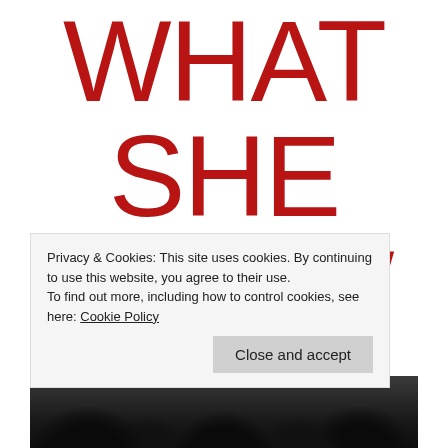WHAT SHE KNEW
[Figure (photo): Black and white photo of trees/forest at bottom of page]
Privacy & Cookies: This site uses cookies. By continuing to use this website, you agree to their use.
To find out more, including how to control cookies, see here: Cookie Policy